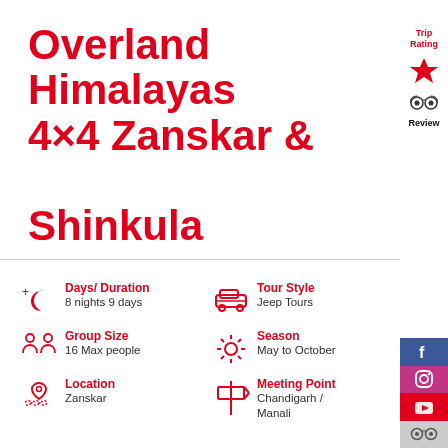Overland Himalayas 4×4 Zanskar & Shinkula
Trip Rating
Review
[Figure (infographic): Facebook social media icon on blue background]
[Figure (infographic): Instagram social media icon on purple/pink background]
[Figure (infographic): YouTube social media icon on red background]
[Figure (infographic): TripAdvisor icon on gray background]
Days/ Duration
8 nights 9 days
Tour Style
Jeep Tours
Group Size
16 Max people
Season
May to October
Location
Zanskar
Meeting Point
Chandigarh / Manali